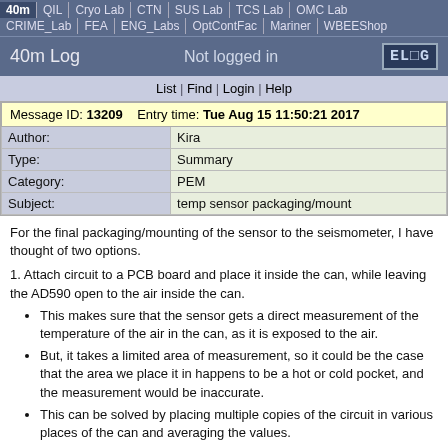40m | QIL | Cryo Lab | CTN | SUS Lab | TCS Lab | OMC Lab | CRIME_Lab | FEA | ENG_Labs | OptContFac | Mariner | WBEEShop
40m Log   Not logged in   ELOG
List | Find | Login | Help
| Message ID: 13209 | Entry time: Tue Aug 15 11:50:21 2017 |
| Author: | Kira |
| Type: | Summary |
| Category: | PEM |
| Subject: | temp sensor packaging/mount |
For the final packaging/mounting of the sensor to the seismometer, I have thought of two options.
1. Attach circuit to a PCB board and place it inside the can, while leaving the AD590 open to the air inside the can.
This makes sure that the sensor gets a direct measurement of the temperature of the air in the can, as it is exposed to the air.
But, it takes a limited area of measurement, so it could be the case that the area we place it in happens to be a hot or cold pocket, and the measurement would be inaccurate.
This can be solved by placing multiple copies of the circuit in various places of the can and averaging the values.
2. Attach the AD590 to a copper plate with thermal paste and put it into a pomona box.